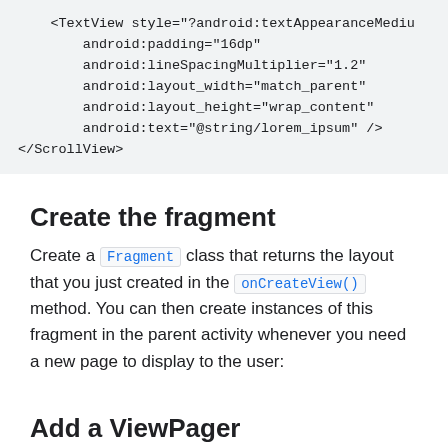[Figure (screenshot): Code block showing Android XML layout snippet with TextView attributes inside a ScrollView]
Create the fragment
Create a Fragment class that returns the layout that you just created in the onCreateView() method. You can then create instances of this fragment in the parent activity whenever you need a new page to display to the user:
Add a ViewPager